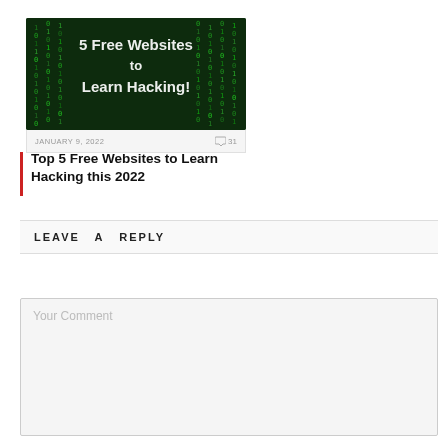[Figure (photo): Thumbnail image with dark green matrix-style digital rain background and white bold text reading '5 Free Websites to Learn Hacking!']
JANUARY 9, 2022   31
Top 5 Free Websites to Learn Hacking this 2022
LEAVE  A  REPLY
Your Comment